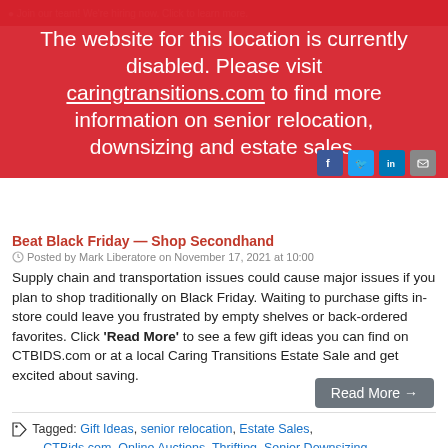Join our team! We're hiring now. Click to learn more.
The website for this location is currently disabled. Please visit caringtransitions.com to find more information on senior relocation, downsizing and estate sales.
Beat Black Friday — Shop Secondhand
Posted by Mark Liberatore on November 17, 2021 at 10:00
Supply chain and transportation issues could cause major issues if you plan to shop traditionally on Black Friday. Waiting to purchase gifts in-store could leave you frustrated by empty shelves or back-ordered favorites. Click 'Read More' to see a few gift ideas you can find on CTBIDS.com or at a local Caring Transitions Estate Sale and get excited about saving.
Read More →
Tagged: Gift Ideas, senior relocation, Estate Sales, CTBids.com, Online Auctions, Thrifting, Senior Downsizing,